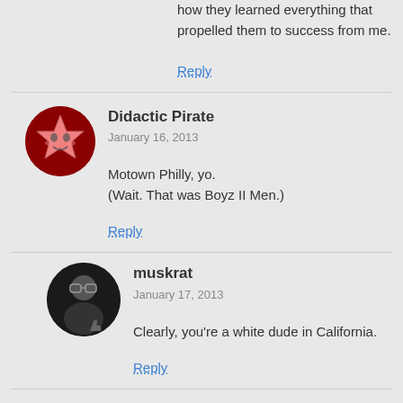how they learned everything that propelled them to success from me.
Reply
Didactic Pirate
January 16, 2013
Motown Philly, yo.
(Wait. That was Boyz II Men.)
Reply
muskrat
January 17, 2013
Clearly, you're a white dude in California.
Reply